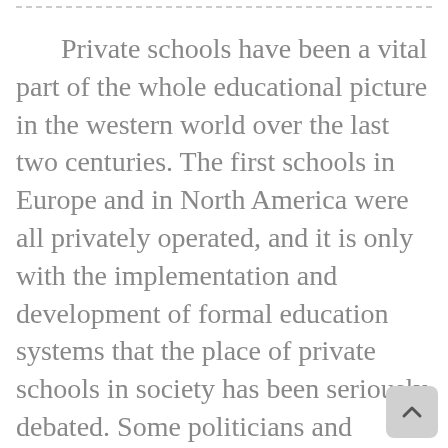Private schools have been a vital part of the whole educational picture in the western world over the last two centuries. The first schools in Europe and in North America were all privately operated, and it is only with the implementation and development of formal education systems that the place of private schools in society has been seriously debated. Some politicians and community leaders have argued that since the